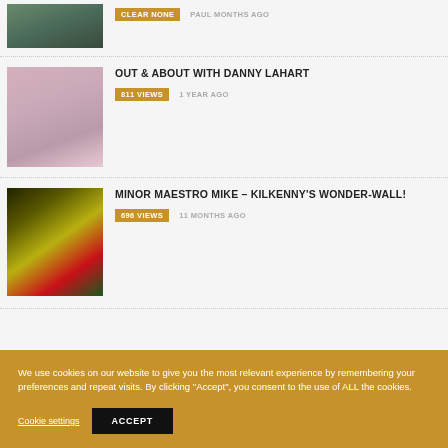[Figure (photo): Partial top image clipped at top of page]
OUT & ABOUT WITH DANNY LAHART
811 VIEWS   1 YEAR AGO
[Figure (photo): Photo of woman with children outdoors]
MINOR MAESTRO MIKE – KILKENNY'S WONDER-WALL!
696 VIEWS   11 MONTHS AGO
[Figure (photo): Photo of hurling players in action, Kilkenny jersey]
We use cookies on our website to give you the most relevant experience by remembering your preferences and repeat visits. By clicking "Accept", you consent to the use of ALL the cookies.
Cookie settings   ACCEPT